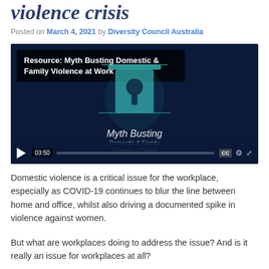violence crisis
Posted on March 4, 2021 by Diversity Council Australia
[Figure (screenshot): Video player showing 'Resource: Myth Busting Domestic & Family Violence at Work' with a teal keyhole/door graphic, timestamp 03:50, and playback controls with CC and settings icons.]
Domestic violence is a critical issue for the workplace, especially as COVID-19 continues to blur the line between home and office, whilst also driving a documented spike in violence against women.
But what are workplaces doing to address the issue? And is it really an issue for workplaces at all?